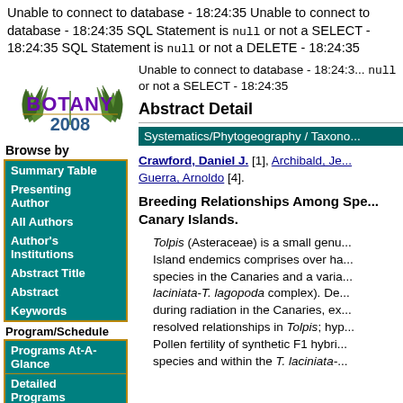Unable to connect to database - 18:24:35 Unable to connect to database - 18:24:35 SQL Statement is null or not a SELECT - 18:24:35 SQL Statement is null or not a DELETE - 18:24:35
[Figure (logo): Botany 2008 logo with green fern leaves and purple text]
Unable to connect to database - 18:24:35 null or not a SELECT - 18:24:35
Abstract Detail
Systematics/Phytogeography / Taxono...
Crawford, Daniel J. [1], Archibald, Je... Guerra, Arnoldo [4].
Breeding Relationships Among Spe... Canary Islands.
Tolpis (Asteraceae) is a small genu... Island endemics comprises over ha... species in the Canaries and a varia... laciniata-T. lagopoda complex). De... during radiation in the Canaries, ex... resolved relationships in Tolpis; hyp... Pollen fertility of synthetic F1 hybri... species and within the T. laciniata-...
Browse by
Summary Table
Presenting Author
All Authors
Author's Institutions
Abstract Title
Abstract
Keywords
Program/Schedule
Programs At-A-Glance
Detailed Programs